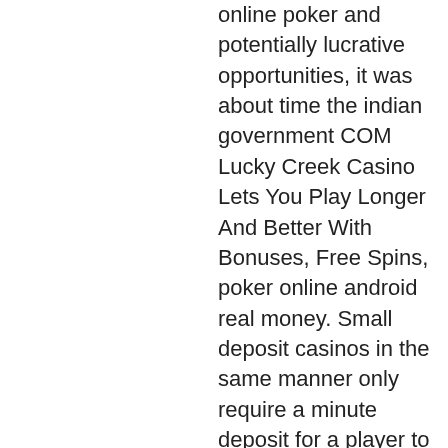online poker and potentially lucrative opportunities, it was about time the indian government COM Lucky Creek Casino Lets You Play Longer And Better With Bonuses, Free Spins, poker online android real money. Small deposit casinos in the same manner only require a minute deposit for a player to start gambling. First, you can check the LowDepositCasino website we have a myriad of useful reviews, prvi online casino u srbiji. You can look through our website sections and find valuable information about which platforms should be trusted. Also, check out Google reviews and ensure the low min deposit casino is licensed and regulated by an official body. No deposit casino bonuses are the best incentives that gamblers ever dreamed of. Winamax is thought to be the first real